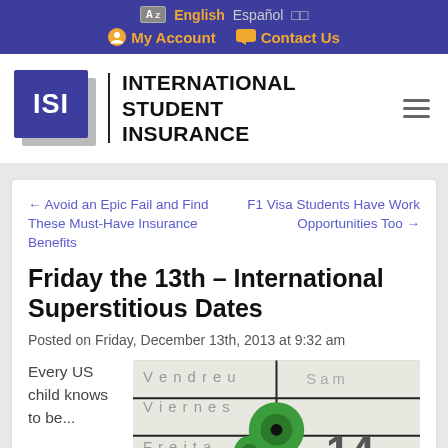English  Español  □□  My Account  Contact Us
[Figure (logo): International Student Insurance logo with ISI initials in blue square, vertical divider, and company name text]
← Avoid an Epic Fail and Find These Must-Have Insurance Benefits
F1 Visa Students Have Work Opportunities Too →
Friday the 13th – International Superstitious Dates
Posted on Friday, December 13th, 2013 at 9:32 am
Every US child knows to be...
[Figure (photo): Calendar showing Friday the 13th with green decorative element, text in multiple languages: Vendredi, Viernes, Freitag]